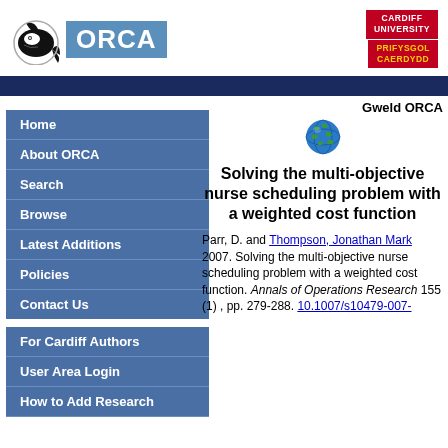[Figure (logo): ORCA logo with orca whale graphic and blue ORCA text box]
[Figure (logo): Cardiff University / Prifysgol Caerdydd logo in red]
[Figure (illustration): Dark navy horizontal navigation divider bar]
Gweld ORCA
[Figure (illustration): Green/blue globe icon]
Home
About ORCA
Search
Browse
Latest Additions
Policies
Contact Us
For Cardiff Authors
User Area Login
How to Add Research
Solving the multi-objective nurse scheduling problem with a weighted cost function
Parr, D. and Thompson, Jonathan Mark 2007. Solving the multi-objective nurse scheduling problem with a weighted cost function. Annals of Operations Research 155 (1) , pp. 279-288. 10.1007/s10479-007-